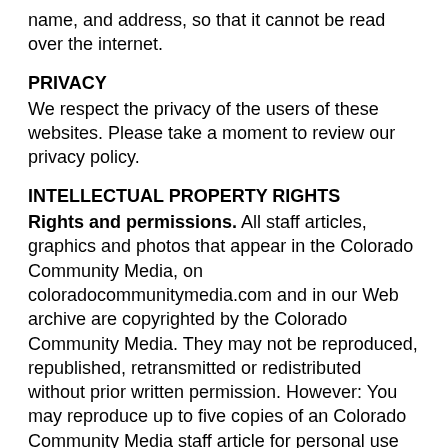name, and address, so that it cannot be read over the internet.
PRIVACY
We respect the privacy of the users of these websites. Please take a moment to review our privacy policy.
INTELLECTUAL PROPERTY RIGHTS
Rights and permissions. All staff articles, graphics and photos that appear in the Colorado Community Media, on coloradocommunitymedia.com and in our Web archive are copyrighted by the Colorado Community Media. They may not be reproduced, republished, retransmitted or redistributed without prior written permission. However: You may reproduce up to five copies of an Colorado Community Media staff article for personal use only. This does not include display or promotional use. You may email a Colorado Community Media staff article to up to five individuals for personal use only. This does not include promotional use. Elementary, middle and high school teachers may reproduce a Colorado Community Media staff article for classroom use only. You may link to an article on coloradocommunitymedia.com. This does not include framing or branding our site as a discount within your site. Details